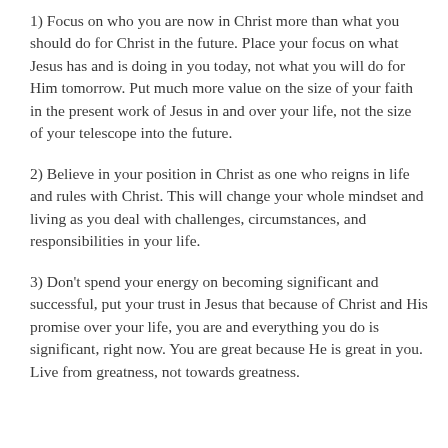1) Focus on who you are now in Christ more than what you should do for Christ in the future. Place your focus on what Jesus has and is doing in you today, not what you will do for Him tomorrow. Put much more value on the size of your faith in the present work of Jesus in and over your life, not the size of your telescope into the future.
2) Believe in your position in Christ as one who reigns in life and rules with Christ. This will change your whole mindset and living as you deal with challenges, circumstances, and responsibilities in your life.
3) Don't spend your energy on becoming significant and successful, put your trust in Jesus that because of Christ and His promise over your life, you are and everything you do is significant, right now. You are great because He is great in you. Live from greatness, not towards greatness.